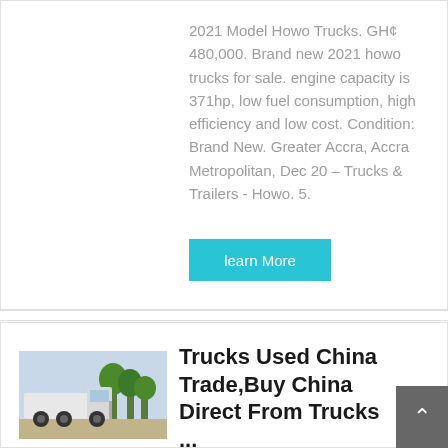2021 Model Howo Trucks. GH¢ 480,000. Brand new 2021 howo trucks for sale. engine capacity is 371hp, low fuel consumption, high efficiency and low cost. Condition: Brand New. Greater Accra, Accra Metropolitan, Dec 20 – Trucks & Trailers - Howo. 5.
learn More
[Figure (photo): Photo of a white Howo truck/tractor unit parked outdoors with trees in background]
Trucks Used China Trade,Buy China Direct From Trucks ...